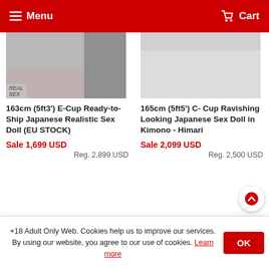Menu  Cart
[Figure (photo): Product thumbnail image, partially visible, grey background with text overlay 'REAL SEX']
163cm (5ft3') E-Cup Ready-to-Ship Japanese Realistic Sex Doll (EU STOCK)
Sale 1,699 USD
Reg. 2,899 USD
[Figure (photo): Product thumbnail image, partially visible, grey/white background]
165cm (5ft5') C- Cup Ravishing Looking Japanese Sex Doll in Kimono - Himari
Sale 2,099 USD
Reg. 2,500 USD
+18 Adult Only Web. Cookies help us to improve our services. By using our website, you agree to our use of cookies. Learn more